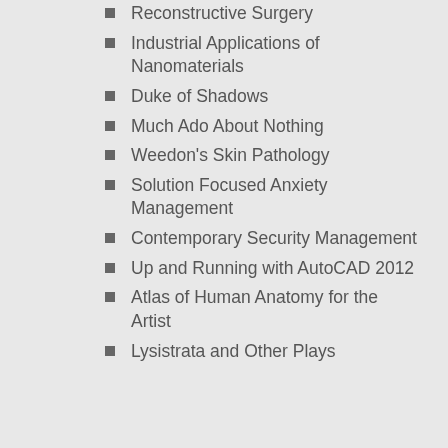Reconstructive Surgery
Industrial Applications of Nanomaterials
Duke of Shadows
Much Ado About Nothing
Weedon's Skin Pathology
Solution Focused Anxiety Management
Contemporary Security Management
Up and Running with AutoCAD 2012
Atlas of Human Anatomy for the Artist
Lysistrata and Other Plays